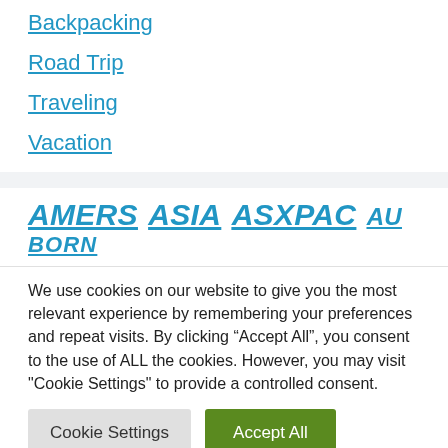Backpacking
Road Trip
Traveling
Vacation
AMERS  ASIA  ASXPAC  AU  BORN
We use cookies on our website to give you the most relevant experience by remembering your preferences and repeat visits. By clicking “Accept All”, you consent to the use of ALL the cookies. However, you may visit "Cookie Settings" to provide a controlled consent.